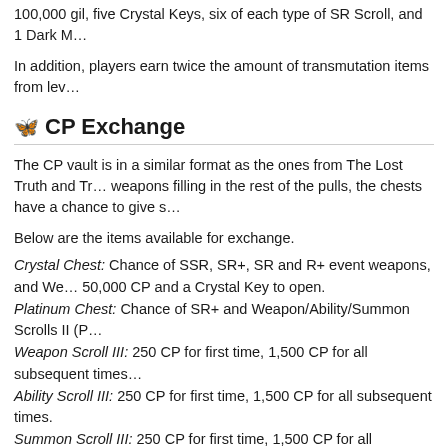100,000 gil, five Crystal Keys, six of each type of SR Scroll, and 1 Dark M…
In addition, players earn twice the amount of transmutation items from lev…
CP Exchange
The CP vault is in a similar format as the ones from The Lost Truth and Tr… weapons filling in the rest of the pulls, the chests have a chance to give s…
Below are the items available for exchange.
Crystal Chest: Chance of SSR, SR+, SR and R+ event weapons, and We… 50,000 CP and a Crystal Key to open.
Platinum Chest: Chance of SR+ and Weapon/Ability/Summon Scrolls II (P…
Weapon Scroll III: 250 CP for first time, 1,500 CP for all subsequent times…
Ability Scroll III: 250 CP for first time, 1,500 CP for all subsequent times.
Summon Scroll III: 250 CP for first time, 1,500 CP for all subsequent times…
CP Vault
The total number of event weapons in the vault this time was 251, with the… getting an SSR weapon, you can 'restock' the vault. This replenishes the n… including SSR. The maximum number of times you can restock in each ha… type. Once the SSR weapon in the CP vault changes, it will automatically…
The event weapons available range from x2 (non-event specific weapons)… from Fat Chocobo (see below). Below you can find the weapons included… through the event from Magic Lance to Selene Bow, the others staid the s…
| Event Weapon |
| --- |